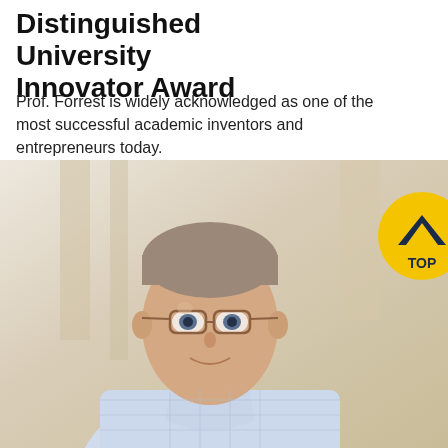Distinguished University Innovator Award
Prof. Forrest is widely acknowledged as one of the most successful academic inventors and entrepreneurs today.
[Figure (photo): Portrait photograph of Prof. Forrest, a middle-aged man with glasses wearing a light blue plaid button-up shirt, smiling, with a blurred architectural background. A yellow circular 'TOP' navigation button appears in the upper right of the image area.]